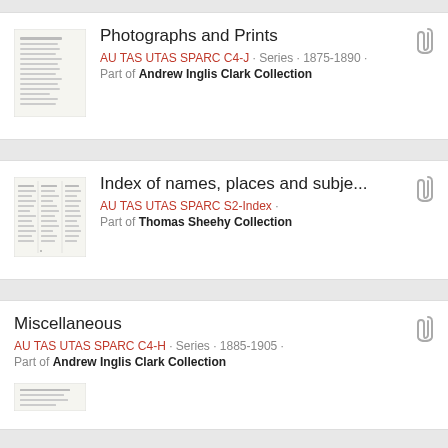[Figure (screenshot): Thumbnail image of a document with text (Photographs and Prints collection)]
Photographs and Prints
AU TAS UTAS SPARC C4-J · Series · 1875-1890 · Part of Andrew Inglis Clark Collection
[Figure (screenshot): Thumbnail image of an index document with columns (Index of names, places and subjects)]
Index of names, places and subje...
AU TAS UTAS SPARC S2-Index · Part of Thomas Sheehy Collection
[Figure (screenshot): Thumbnail image of a document (Miscellaneous collection)]
Miscellaneous
AU TAS UTAS SPARC C4-H · Series · 1885-1905 · Part of Andrew Inglis Clark Collection